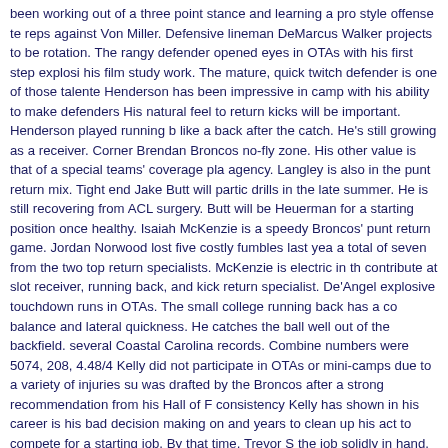been working out of a three point stance and learning a pro style offense te reps against Von Miller. Defensive lineman DeMarcus Walker projects to be rotation. The rangy defender opened eyes in OTAs with his first step explosi his film study work. The mature, quick twitch defender is one of those talente Henderson has been impressive in camp with his ability to make defenders His natural feel to return kicks will be important. Henderson played running b like a back after the catch. He's still growing as a receiver. Corner Brendan Broncos no-fly zone. His other value is that of a special teams' coverage pla agency. Langley is also in the punt return mix. Tight end Jake Butt will partic drills in the late summer. He is still recovering from ACL surgery. Butt will be Heuerman for a starting position once healthy. Isaiah McKenzie is a speedy Broncos' punt return game. Jordan Norwood lost five costly fumbles last yea a total of seven from the two top return specialists. McKenzie is electric in th contribute at slot receiver, running back, and kick return specialist. De'Angel explosive touchdown runs in OTAs. The small college running back has a co balance and lateral quickness. He catches the ball well out of the backfield. several Coastal Carolina records. Combine numbers were 5074, 208, 4.48/4 Kelly did not participate in OTAs or mini-camps due to a variety of injuries su was drafted by the Broncos after a strong recommendation from his Hall of F consistency Kelly has shown in his career is his bad decision making on and years to clean up his act to compete for a starting job. By that time, Trevor S the job solidly in hand. If not, Kelly may be the guy. GRADE: GOOD.